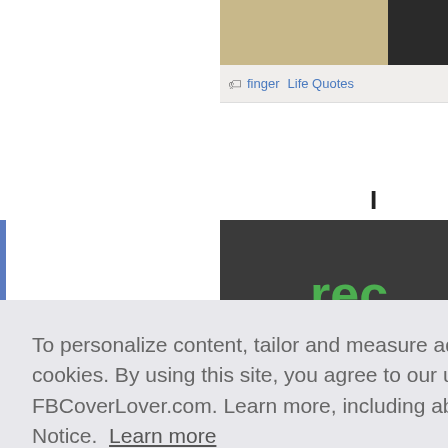[Figure (screenshot): Background website content showing a header image with beige/tan color, tag links 'finger' and 'Life Quotes', dark panel with green text 'rec' and white text 're', and 'Life' label]
To personalize content, tailor and measure ads and provide a safer experience, we use cookies. By using this site, you agree to our use of cookies on and off FBCoverLover.com. Learn more, including about controls: Private Policy & Cookies Notice.  Learn more
Got it!